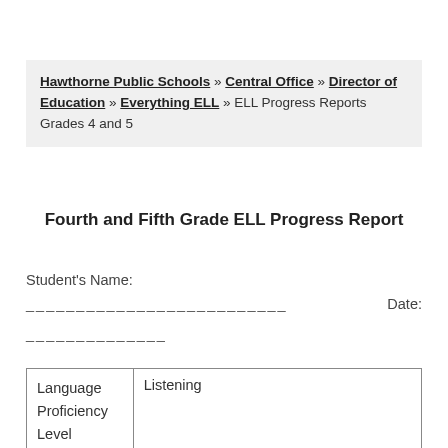Hawthorne Public Schools » Central Office » Director of Education » Everything ELL » ELL Progress Reports Grades 4 and 5
Fourth and Fifth Grade ELL Progress Report
Student's Name:
__________________________ Date:
______________
| Language Proficiency Level | Listening |
| --- | --- |